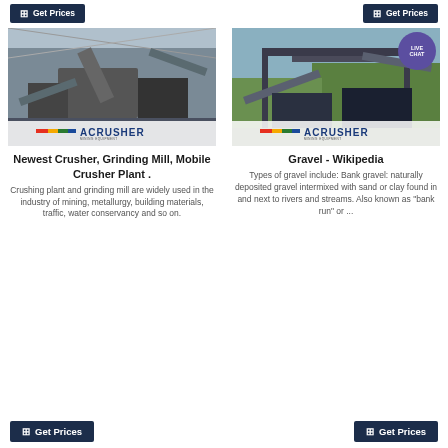[Figure (screenshot): Top row Get Prices buttons (partially visible at top of page)]
[Figure (photo): Photo of industrial crushing/grinding plant interior with ACRUSHER logo overlay]
[Figure (photo): Photo of outdoor gravel/crushing equipment with ACRUSHER logo overlay and LIVE CHAT bubble]
Newest Crusher, Grinding Mill, Mobile Crusher Plant .
Crushing plant and grinding mill are widely used in the industry of mining, metallurgy, building materials, traffic, water conservancy and so on.
Gravel - Wikipedia
Types of gravel include: Bank gravel: naturally deposited gravel intermixed with sand or clay found in and next to rivers and streams. Also known as "bank run" or ...
[Figure (screenshot): Bottom row Get Prices buttons]
[Figure (screenshot): Bottom row Get Prices buttons (right)]